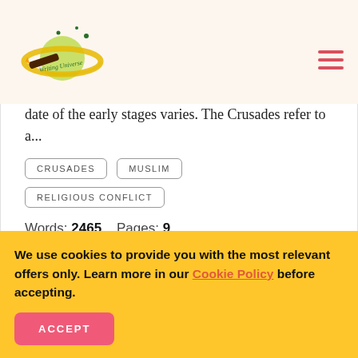[Figure (logo): Writing Universe logo — planet with ring and pencil, green and yellow colors]
date of the early stages varies. The Crusades refer to a...
CRUSADES   MUSLIM   RELIGIOUS CONFLICT
Words: 2465   Pages: 9
CONTINUE READING
We use cookies to provide you with the most relevant offers only. Learn more in our Cookie Policy before accepting.
ACCEPT